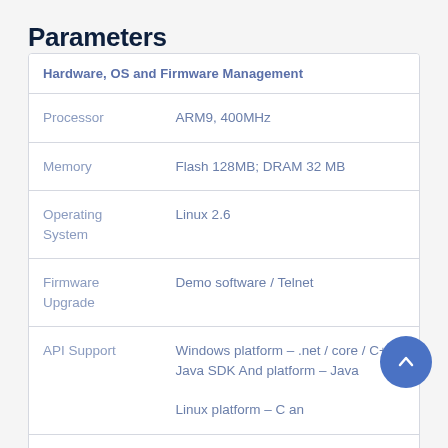Parameters
| Hardware, OS and Firmware Management |  |
| --- | --- |
| Processor | ARM9, 400MHz |
| Memory | Flash 128MB; DRAM 32 MB |
| Operating System | Linux 2.6 |
| Firmware Upgrade | Demo software / Telnet |
| API Support | Windows platform – .net / core / C++ / Java SDK And platform – Java

Linux platform – C an |
| Physical Characteristics |  |